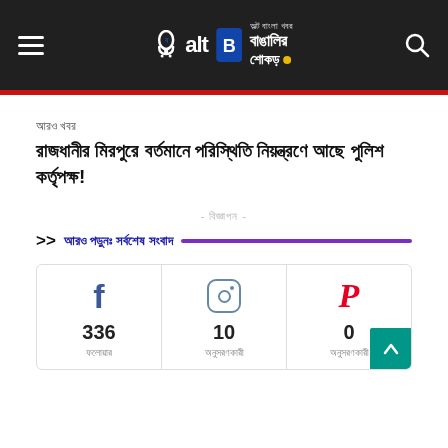[Figure (screenshot): AltB Bangla news website header with logo, hamburger menu, and search icon on dark background]
আরও খবর
রাজধানীর মিরপুরে বর্তমানে পরিস্থিতি নিয়ন্ত্রণে আছে পুলিশ কর্তৃপক্ষ!
- বিজ্ঞাপন -
>> আরও পড়ুনঃ সর্বশেষ সংবাদ
| Facebook | Instagram | Pinterest |
| --- | --- | --- |
| 336 | 10 | 0 |
| ফলোয়ার | অনুসরণকারী | অনুসরণকারী |